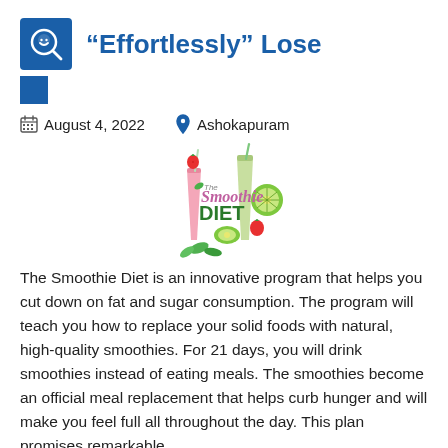“Effortlessly” Lose
[Figure (logo): Blue square logo with a magnifying glass icon containing a smiley face]
August 4, 2022    Ashokapuram
[Figure (illustration): The Smoothie Diet logo with two smoothie glasses and fruits including strawberries and kiwi]
The Smoothie Diet is an innovative program that helps you cut down on fat and sugar consumption. The program will teach you how to replace your solid foods with natural, high-quality smoothies. For 21 days, you will drink smoothies instead of eating meals. The smoothies become an official meal replacement that helps curb hunger and will make you feel full all throughout the day. This plan promises remarkable